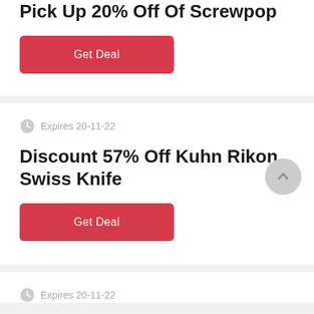Pick Up 20% Off Of Screwpop
Get Deal
Expires 20-11-22
Discount 57% Off Kuhn Rikon Swiss Knife
Get Deal
Expires 20-11-22